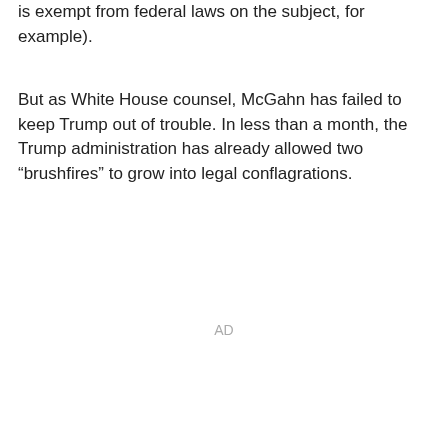is exempt from federal laws on the subject, for example).
But as White House counsel, McGahn has failed to keep Trump out of trouble. In less than a month, the Trump administration has already allowed two “brushfires” to grow into legal conflagrations.
AD